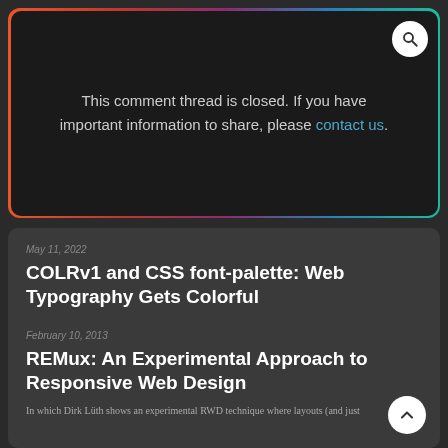This comment thread is closed. If you have important information to share, please contact us.
May 11, 2022
COLRv1 and CSS font-palette: Web Typography Gets Colorful
According to Toshi Omagari, the author of Arcade Game Typography, the world's first multi-colored digital font was created in 1982 for a never-released video game called Insector. Multi-colored fonts, sometimes called chromatic type, are still relatively...
February 10, 2013
REMux: An Experimental Approach to Responsive Web Design
In which Dirk Lüth shows an experimental RWD technique where layouts (and just